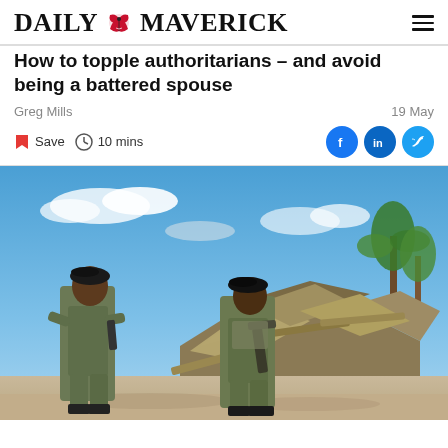DAILY MAVERICK
How to topple authoritarians – and avoid being a battered spouse
Greg Mills
19 May
Save  10 mins
[Figure (photo): Two soldiers in military uniform and black berets walk in front of destroyed, collapsed metal-roofed structures on a sandy ground. Blue sky and palm trees visible in background.]